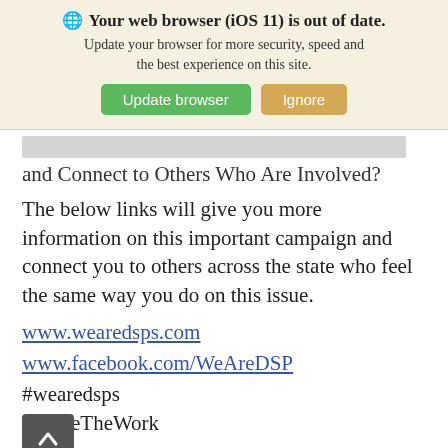[Figure (screenshot): Browser update notification banner with globe icon, bold title 'Your web browser (iOS 11) is out of date.', subtitle text, and two buttons: green 'Update browser' and tan 'Ignore']
... and Connect to Others Who Are Involved?
The below links will give you more information on this important campaign and connect you to others across the state who feel the same way you do on this issue.
www.wearedsps.com
www.facebook.com/WeAreDSP
#wearedsps
#ValueTheWork